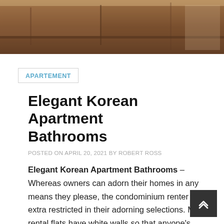[Figure (photo): Top portion of a photo showing a kitchen or bathroom interior with wooden cabinetry in warm brown tones]
APARTEMENT
Elegant Korean Apartment Bathrooms
POSTED ON APRIL 20, 2021 BY ROBERT ROSS
Elegant Korean Apartment Bathrooms – Whereas owners can adorn their homes in any means they please, the condominium renter is extra restricted in their adorning selections. Most rental flats have white walls so that anyone's furnishings match into the decorating scheme. Window therapies may be bland as properly, for a similar cause. The carpeting could be a main